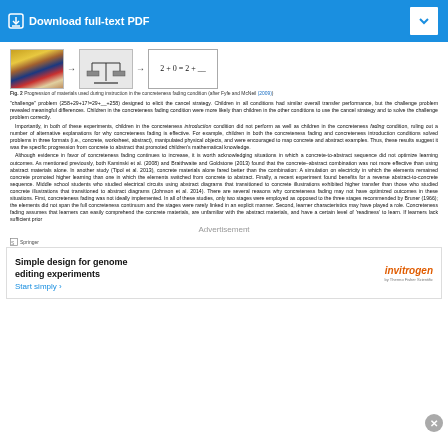[Figure (screenshot): Download full-text PDF button bar with blue background and chevron dropdown]
[Figure (illustration): Fig. 2 progression of materials: photo of balance scale toy, arrow, sketch of balance scale, arrow, equation box showing 2+0=2+__]
Fig. 2 Progression of materials used during instruction in the concreteness fading condition (after Fyfe and McNeil (2009))
'challenge' problem (258+29+17!=29+__+258) designed to elicit the cancel strategy. Children in all conditions had similar overall transfer performance, but the challenge problem revealed meaningful differences. Children in the concreteness fading condition were more likely than children in the other conditions to use the cancel strategy and to solve the challenge problem correctly.
Importantly, in both of these experiments, children in the concreteness introduction condition did not perform as well as children in the concreteness fading condition, ruling out a number of alternative explanations for why concreteness fading is effective. For example, children in both the concreteness fading and concreteness introduction conditions solved problems in three formats (i.e., concrete, worksheet, abstract), manipulated physical objects, and were encouraged to map concrete and abstract examples. Thus, these results suggest it was the specific progression from concrete to abstract that promoted children's mathematical knowledge.
Although evidence in favor of concreteness fading continues to increase, it is worth acknowledging situations in which a concrete-to-abstract sequence did not optimize learning outcomes. As mentioned previously, both Kaminski et al. (2008) and Braithwaite and Goldstone (2013) found that the concrete-abstract combination was not more effective than using abstract materials alone. In another study (Tipol et al. 2013), concrete materials alone fared better than the combination: A simulation on electricity in which the elements remained concrete promoted higher learning than one in which the elements switched from concrete to abstract. Finally, a recent experiment found benefits for a reverse abstract-to-concrete sequence. Middle school students who studied electrical circuits using abstract diagrams that transitioned to concrete illustrations exhibited higher transfer than those who studied concrete illustrations that transitioned to abstract diagrams (Johnson et al. 2014). There are several reasons why concreteness fading may not have optimized outcomes in these situations. First, concreteness fading was not ideally implemented. In all of these studies, only two stages were employed as opposed to the three stages recommended by Bruner (1966); the elements did not span the full concreteness continuum and the stages were rarely linked in an explicit manner. Second, learner characteristics may have played a role. Concreteness fading assumes that learners can easily comprehend the concrete materials, are unfamiliar with the abstract materials, and have a certain level of 'readiness' to learn. If learners lack sufficient prior
Advertisement
Springer
[Figure (screenshot): Advertisement banner: Simple design for genome editing experiments. Start simply. Invitrogen by Thermo Fisher Scientific logo.]